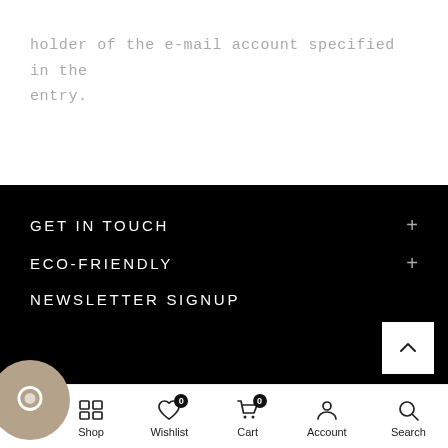holder of the e-mail account specified in the entry.
GET IN TOUCH
ECO-FRIENDLY
NEWSLETTER SIGNUP
Shop  Wishlist 0  Cart 0  Account  Search